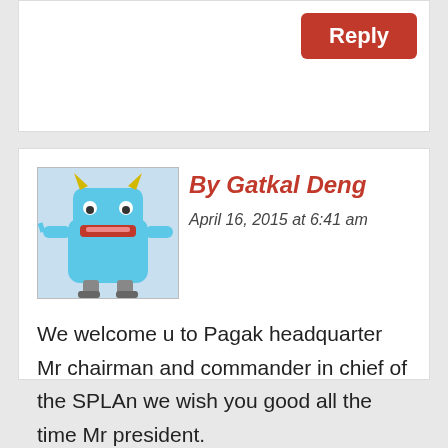[Figure (screenshot): Partial top of a comment reply box with a red Reply button]
[Figure (illustration): Cartoon blue monster avatar for user Gatkal Deng]
By Gatkal Deng
April 16, 2015 at 6:41 am
We welcome u to Pagak headquarter Mr chairman and commander in chief of the SPLAn we wish you good all the time Mr president.
Like
Reply
Advertisements
[Figure (screenshot): DuckDuckGo advertisement banner: Search, browse, and email with more privacy. All in One Free App]